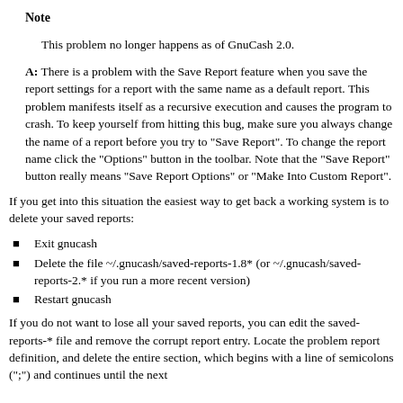Note
This problem no longer happens as of GnuCash 2.0.
A: There is a problem with the Save Report feature when you save the report settings for a report with the same name as a default report. This problem manifests itself as a recursive execution and causes the program to crash. To keep yourself from hitting this bug, make sure you always change the name of a report before you try to "Save Report". To change the report name click the "Options" button in the toolbar. Note that the "Save Report" button really means "Save Report Options" or "Make Into Custom Report".
If you get into this situation the easiest way to get back a working system is to delete your saved reports:
Exit gnucash
Delete the file ~/.gnucash/saved-reports-1.8* (or ~/.gnucash/saved-reports-2.* if you run a more recent version)
Restart gnucash
If you do not want to lose all your saved reports, you can edit the saved-reports-* file and remove the corrupt report entry. Locate the problem report definition, and delete the entire section, which begins with a line of semicolons (";") and continues until the next